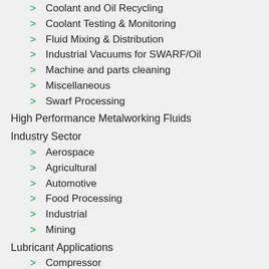Coolant and Oil Recycling
Coolant Testing & Monitoring
Fluid Mixing & Distribution
Industrial Vacuums for SWARF/Oil
Machine and parts cleaning
Miscellaneous
Swarf Processing
High Performance Metalworking Fluids
Industry Sector
Aerospace
Agricultural
Automotive
Food Processing
Industrial
Mining
Lubricant Applications
Compressor
Engine
Gearbox (Automotive)
Gearbox (Industrial)